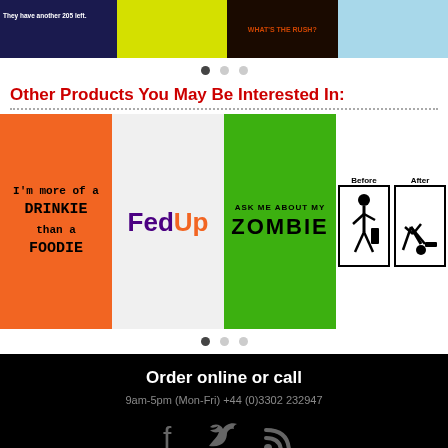[Figure (screenshot): Top carousel showing 4 product t-shirt thumbnails: navy shirt, yellow shirt, dark shirt with 'WHAT'S THE RUSH?', light blue shirt]
[Figure (infographic): Three carousel navigation dots, first one active (filled dark)]
Other Products You May Be Interested In:
[Figure (screenshot): Products carousel with 4 t-shirt designs: orange 'I'm more of a DRINKIE than a FOODIE', white 'FedUp', green 'ASK ME ABOUT MY ZOMBIE', white Before/After zombie illustration]
[Figure (infographic): Three carousel navigation dots, first one active]
Order online or call
9am-5pm (Mon-Fri) +44 (0)3302 232947
[Figure (infographic): Social media icons: Facebook, Twitter, RSS feed]